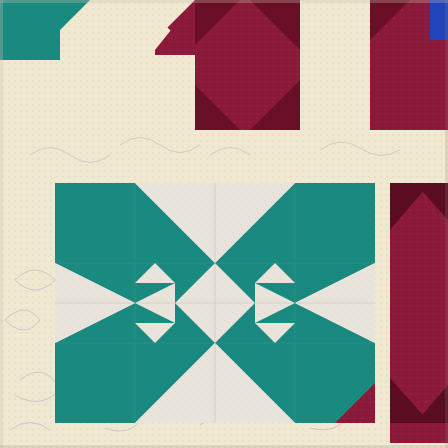[Figure (photo): Close-up photograph of a patchwork quilt featuring star pattern blocks. The top portion shows partial quilt blocks with teal/green, dark crimson/maroon, and blue fabric pieces against a cream/beige dotted background fabric with swirl quilting patterns. The lower two-thirds shows a prominent teal and white 'Sawtooth Star' or 'Hunter's Star' quilt block with triangular points forming a central eight-pointed star design, set against the same cream dotted sashing. To the right edge, partial crimson maroon blocks are visible.]